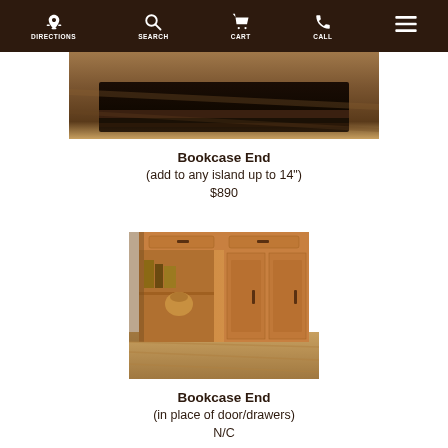DIRECTIONS SEARCH CART CALL
[Figure (photo): Partial close-up of a dark wood furniture piece on a wood floor]
Bookcase End
(add to any island up to 14")
$890
[Figure (photo): Medium oak kitchen island with open shelves showing books and pottery, and cabinet doors with bar pulls]
Bookcase End
(in place of door/drawers)
N/C